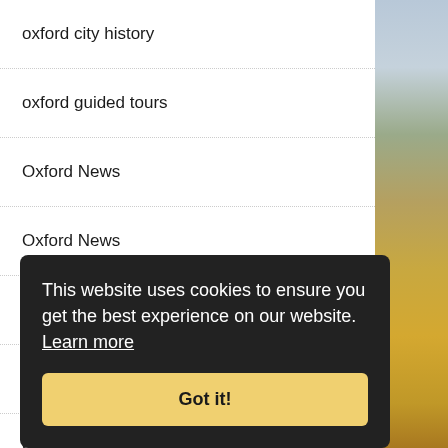oxford city history
oxford guided tours
Oxford News
Oxford News
oxford university museum natural history
pitt rivers museum oxford
shopping oxford
This website uses cookies to ensure you get the best experience on our website. Learn more
Got it!